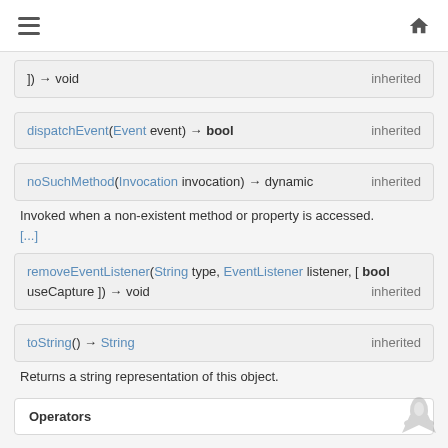≡  ⌂
]) → void   inherited
dispatchEvent(Event event) → bool   inherited
noSuchMethod(Invocation invocation) → dynamic   inherited
Invoked when a non-existent method or property is accessed.
[...]
removeEventListener(String type, EventListener listener, [ bool useCapture ]) → void   inherited
toString() → String   inherited
Returns a string representation of this object.
Operators